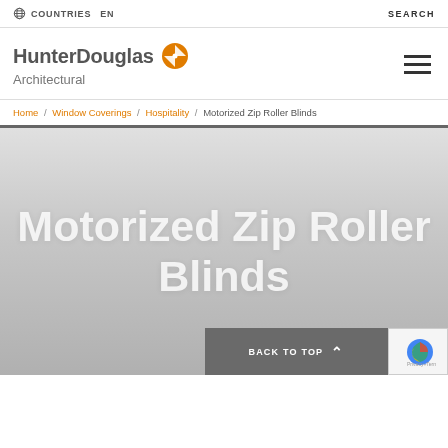COUNTRIES  EN  |  SEARCH
[Figure (logo): HunterDouglas Architectural logo with orange compass-like icon]
Home / Window Coverings / Hospitality / Motorized Zip Roller Blinds
Motorized Zip Roller Blinds
BACK TO TOP  |  Privacy + Terms